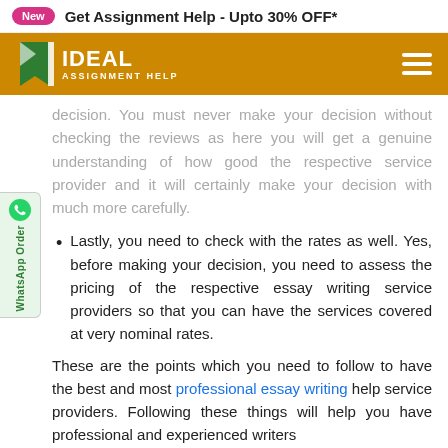New  Get Assignment Help - Upto 30% OFF*
[Figure (logo): Ideal Assignment Help logo with orange header bar and hamburger menu]
decision. You must never make your decision without checking the reviews as here you will get a genuine understanding of how good the respective service provider and it will certainly make your decision with much more carefully.
Lastly, you need to check with the rates as well. Yes, before making your decision, you need to assess the pricing of the respective essay writing service providers so that you can have the services covered at very nominal rates.
These are the points which you need to follow to have the best and most professional essay writing help service providers. Following these things will help you have professional and experienced writers